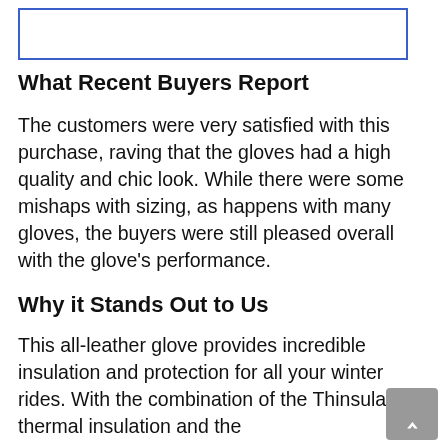[Figure (other): Empty bordered box, likely placeholder for an image]
What Recent Buyers Report
The customers were very satisfied with this purchase, raving that the gloves had a high quality and chic look. While there were some mishaps with sizing, as happens with many gloves, the buyers were still pleased overall with the glove’s performance.
Why it Stands Out to Us
This all-leather glove provides incredible insulation and protection for all your winter rides. With the combination of the Thinsulate thermal insulation and the